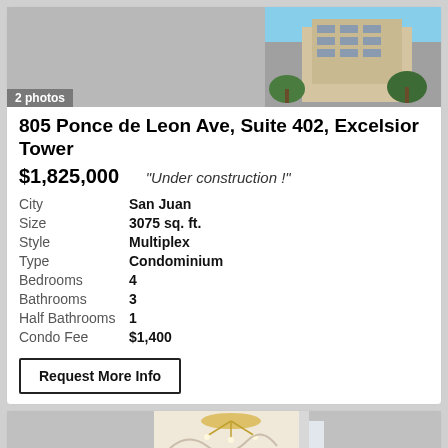[Figure (photo): Exterior photo of Excelsior Tower building with '2 photos' label overlay]
805 Ponce de Leon Ave, Suite 402, Excelsior Tower
$1,825,000   "Under construction !"
City  San Juan
Size  3075 sq. ft.
Style  Multiplex
Type  Condominium
Bedrooms  4
Bathrooms  3
Half Bathrooms  1
Condo Fee  $1,400
Request More Info
[Figure (photo): Interior photo showing a chandelier and decorative wall mural in a luxury condominium]